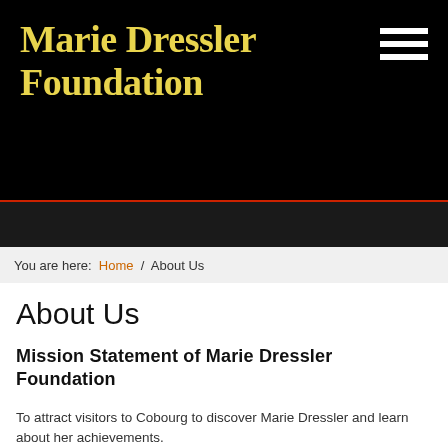Marie Dressler Foundation
You are here: Home / About Us
About Us
Mission Statement of Marie Dressler Foundation
To attract visitors to Cobourg to discover Marie Dressler and learn about her achievements.
Vision Statement of Marie Dressler Foundation
We strive to be the Region's best, most progressive, and